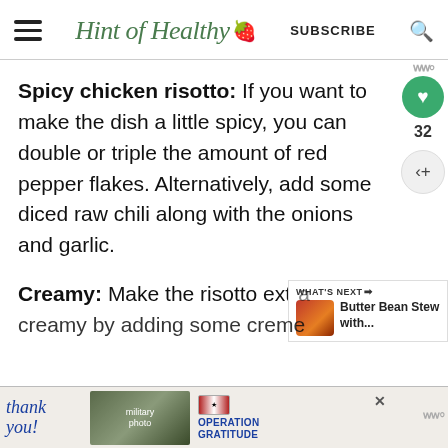Hint of Healthy | SUBSCRIBE
Spicy chicken risotto: If you want to make the dish a little spicy, you can double or triple the amount of red pepper flakes. Alternatively, add some diced raw chili along with the onions and garlic.
Creamy: Make the risotto extra creamy by adding some creme fraiche...
[Figure (screenshot): What's Next panel showing Butter Bean Stew with... article thumbnail]
[Figure (screenshot): Advertisement banner - Operation Gratitude thank you ad with military imagery]
WW logo bottom right